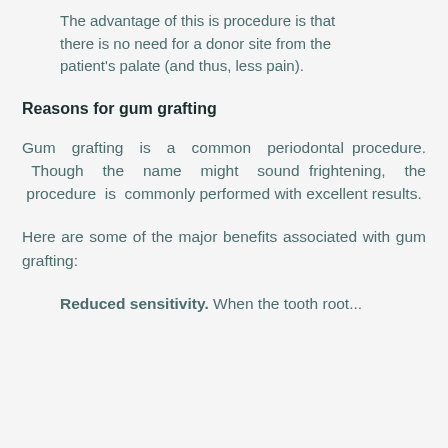The advantage of this is procedure is that there is no need for a donor site from the patient's palate (and thus, less pain).
Reasons for gum grafting
Gum grafting is a common periodontal procedure. Though the name might sound frightening, the procedure is commonly performed with excellent results.
Here are some of the major benefits associated with gum grafting:
Reduced sensitivity. When the tooth root...